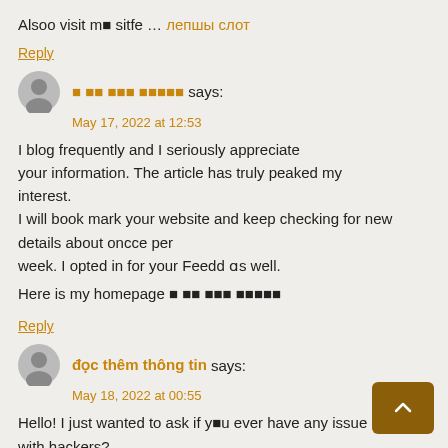Alsoo visit m■ sitfe … лепшы слот
Reply
■ ■■ ■■■ ■■■■■ says:
May 17, 2022 at 12:53

I blog frequently and I seriously appreciate your information. The article has truly peaked my interest.
I will book mark your website and keep checking for new details about oncce per week. I opted in for your Feedd ɑs well.

Here is my homepage ■ ■■ ■■■ ■■■■■
Reply
đọc thêm thông tin says:
May 18, 2022 at 00:55

Hello! I just wanted to ask if y■u ever have any issue with hackers?
My last blog (wordpress) wwas hacked and I ended ■n